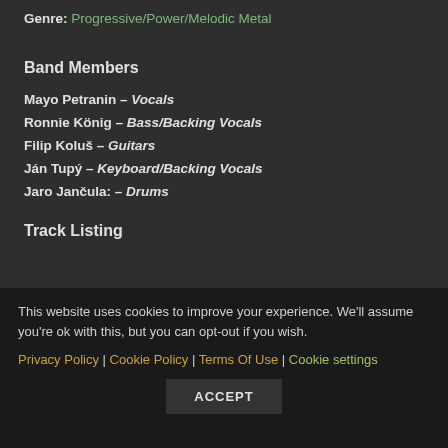Genre: Progressive/Power/Melodic Metal
Band Members
Mayo Petranin – Vocals
Ronnie König – Bass/Backing Vocals
Filip Koluš – Guitars
Ján Tupý – Keyboard/Backing Vocals
Jaro Jančula: – Drums
Track Listing
This website uses cookies to improve your experience. We'll assume you're ok with this, but you can opt-out if you wish. Privacy Policy | Cookie Policy | Terms Of Use | Cookie settings
ACCEPT